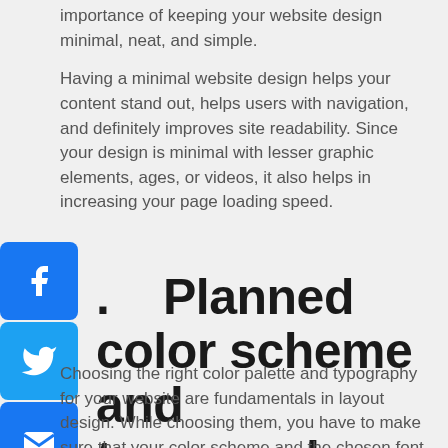importance of keeping your website design minimal, neat, and simple.
Having a minimal website design helps your content stand out, helps users with navigation, and definitely improves site readability. Since your design is minimal with lesser graphic elements, ages, or videos, it also helps in increasing your page loading speed.
[Figure (infographic): Three social sharing icons stacked vertically on the left side: Facebook (blue with f logo), Twitter (blue with bird logo), Email (blue with envelope logo)]
. Planned color scheme and typography
Choosing the right color palette and typography for your website are fundamentals in layout design. While choosing them, you have to make sure that your color scheme and the chosen font family don't clash with each other.